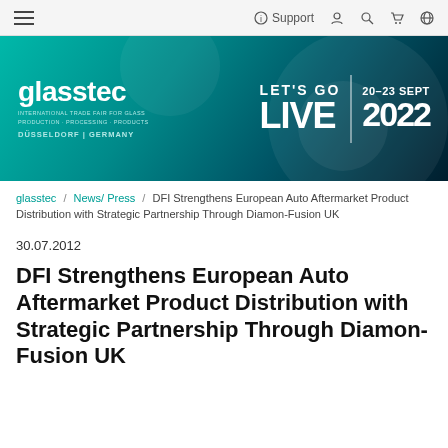≡  Support 👤 🔍 🛒 🌐
[Figure (illustration): Glasstec trade fair banner with teal/dark green gradient background. Left side shows glasstec logo and tagline 'International Trade Fair for Glass Production Processing Products, Düsseldorf Germany'. Right side shows 'LET'S GO LIVE' text with date '20-23 SEPT 2022'.]
glasstec / News/ Press / DFI Strengthens European Auto Aftermarket Product Distribution with Strategic Partnership Through Diamon-Fusion UK
30.07.2012
DFI Strengthens European Auto Aftermarket Product Distribution with Strategic Partnership Through Diamon-Fusion UK